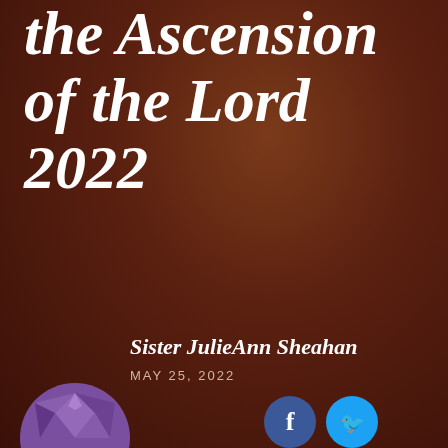the Ascension of the Lord 2022
Sister JulieAnn Sheahan
MAY 25, 2022